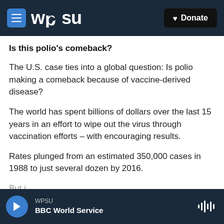WPSU | Donate
Is this polio's comeback?
The U.S. case ties into a global question: Is polio making a comeback because of vaccine-derived disease?
The world has spent billions of dollars over the last 15 years in an effort to wipe out the virus through vaccination efforts – with encouraging results.
Rates plunged from an estimated 350,000 cases in 1988 to just several dozen by 2016.
WPSU | BBC World Service